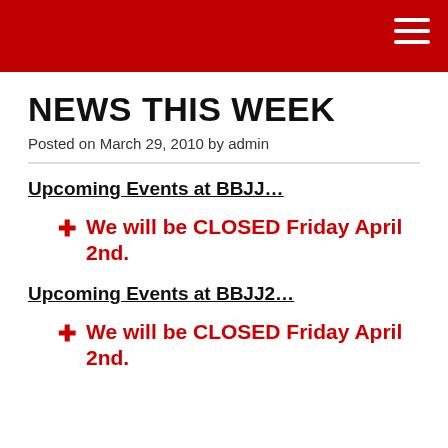NEWS THIS WEEK — header bar with hamburger menu
NEWS THIS WEEK
Posted on March 29, 2010 by admin
Upcoming Events at BBJJ…
We will be CLOSED Friday April 2nd.
Upcoming Events at BBJJ2…
We will be CLOSED Friday April 2nd.